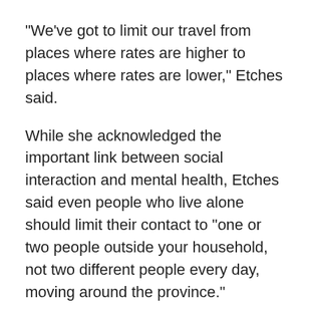"We've got to limit our travel from places where rates are higher to places where rates are lower," Etches said.
While she acknowledged the important link between social interaction and mental health, Etches said even people who live alone should limit their contact to "one or two people outside your household, not two different people every day, moving around the province."
Bright spots
There were a few bright spots in Wednesday's update to council: For one, influenza transmission appears to be much lower this year than usual, with no outbreaks